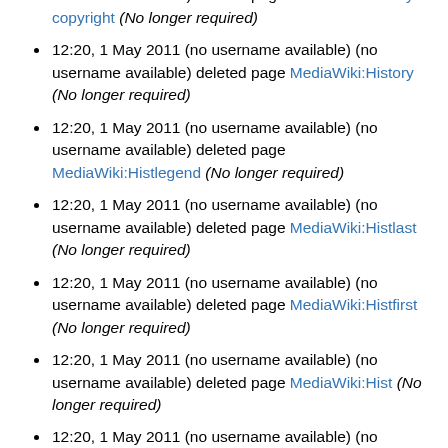12:20, 1 May 2011 (no username available) (no username available) deleted page MediaWiki:History copyright (No longer required)
12:20, 1 May 2011 (no username available) (no username available) deleted page MediaWiki:History (No longer required)
12:20, 1 May 2011 (no username available) (no username available) deleted page MediaWiki:Histlegend (No longer required)
12:20, 1 May 2011 (no username available) (no username available) deleted page MediaWiki:Histlast (No longer required)
12:20, 1 May 2011 (no username available) (no username available) deleted page MediaWiki:Histfirst (No longer required)
12:20, 1 May 2011 (no username available) (no username available) deleted page MediaWiki:Hist (No longer required)
12:20, 1 May 2011 (no username available) (no username available) deleted page MediaWiki:Hidetoc (No longer required)